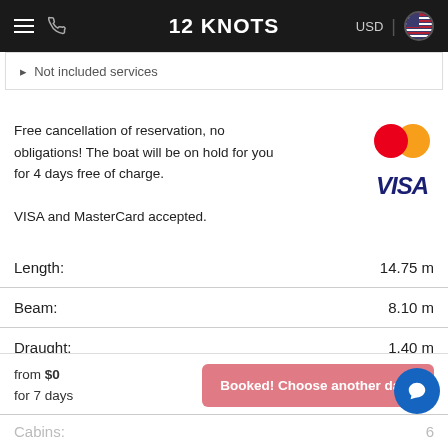12 KNOTS
Not included services
Free cancellation of reservation, no obligations! The boat will be on hold for you for 4 days free of charge.
VISA and MasterCard accepted.
|  |  |
| --- | --- |
| Length: | 14.75 m |
| Beam: | 8.10 m |
| Draught: | 1.40 m |
| Engine: | 80 |
| Berths: | 12 |
| Cabins: | 6 |
| Bathrooms: | 6 |
from $0
for 7 days
Booked! Choose another date.